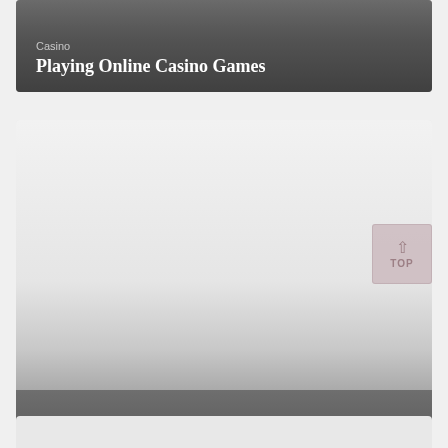[Figure (illustration): Card with grey gradient background showing a Casino category label and title 'Playing Online Casino Games']
Playing Online Casino Games
[Figure (illustration): Card with light grey image area fading to dark overlay at bottom, showing Casino category label and title 'Overview of Casino Share']
Overview of Casino Share